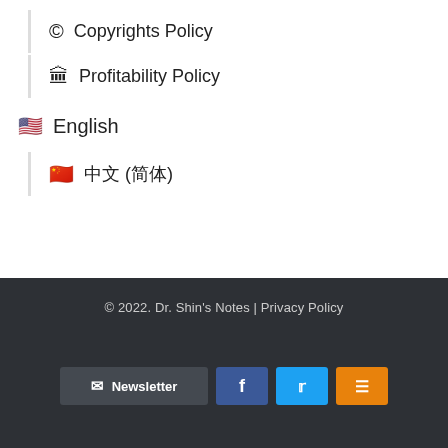© Copyrights Policy
🏛 Profitability Policy
🇺🇸 English
🇨🇳 中文 (简体)
© 2022. Dr. Shin's Notes | Privacy Policy
Newsletter   f   Twitter   RSS